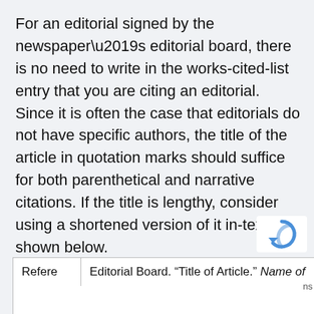For an editorial signed by the newspaper's editorial board, there is no need to write in the works-cited-list entry that you are citing an editorial. Since it is often the case that editorials do not have specific authors, the title of the article in quotation marks should suffice for both parenthetical and narrative citations. If the title is lengthy, consider using a shortened version of it in-text, as shown below.
| Refere | Editorial Board. “Title of Article.” Name of |
| --- | --- |